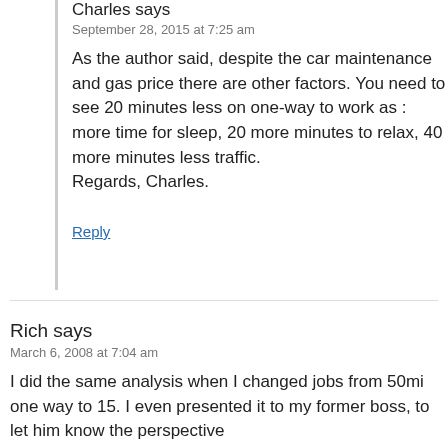Charles says
September 28, 2015 at 7:25 am
As the author said, despite the car maintenance and gas price there are other factors. You need to see 20 minutes less on one-way to work as : more time for sleep, 20 more minutes to relax, 40 more minutes less traffic.
Regards, Charles.
Reply
Rich says
March 6, 2008 at 7:04 am
I did the same analysis when I changed jobs from 50mi one way to 15. I even presented it to my former boss, to let him know the perspective from which he was considering the problem...